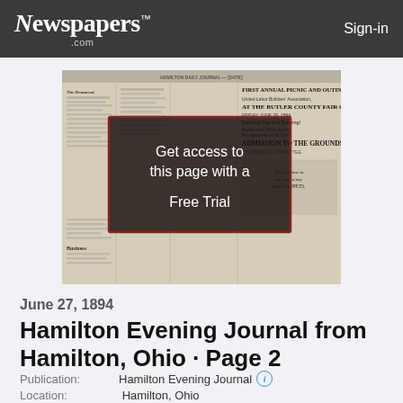Newspapers.com  Sign-in
[Figure (screenshot): Thumbnail of a historical newspaper page (Hamilton Evening Journal, June 27, 1894) with an overlay reading 'Get access to this page with a Free Trial']
June 27, 1894
Hamilton Evening Journal from Hamilton, Ohio · Page 2
Publication: Hamilton Evening Journal ℹ
Location: Hamilton, Ohio